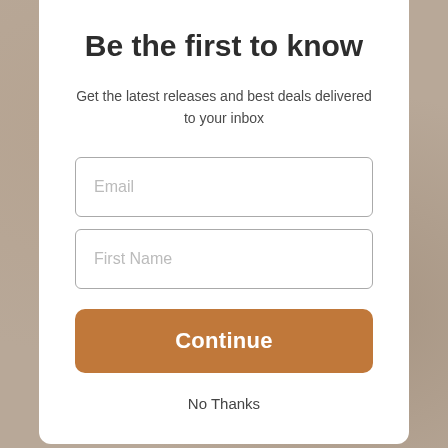Be the first to know
Get the latest releases and best deals delivered to your inbox
Email
First Name
Continue
No Thanks